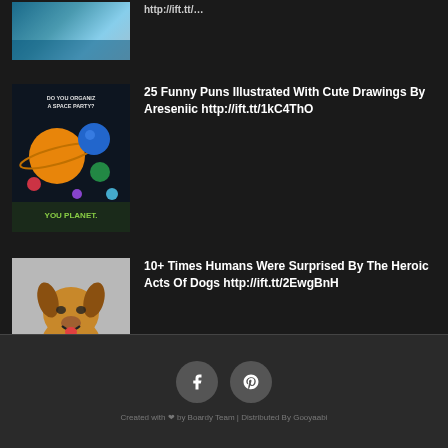[Figure (photo): Partial thumbnail image at top, cropped - appears to show people outdoors]
25 Funny Puns Illustrated With Cute Drawings By Areseniic http://ift.tt/1kC4ThO
[Figure (photo): Space/planet themed illustration - colorful planets and spheres, text reads 'Do You Organize A Space Party? / You Planet']
10+ Times Humans Were Surprised By The Heroic Acts Of Dogs http://ift.tt/2EwgBnH
[Figure (photo): Photo of a dog (appears to be a German Shepherd mix) wearing a red collar, smiling at camera, white/gray background]
INSTAGRAM
Created with ❤ by Boardy Team | Distributed By Gooyaabi